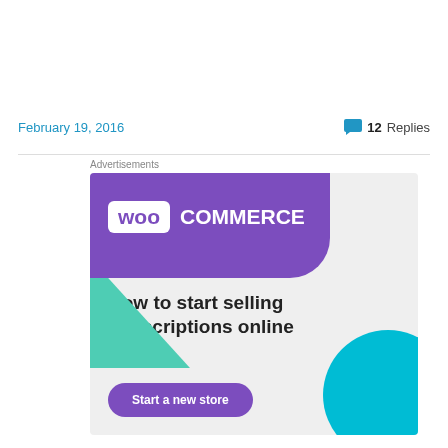February 19, 2016
12 Replies
Advertisements
[Figure (illustration): WooCommerce advertisement banner showing the WooCommerce logo on a purple banner, green triangle shape, cyan circle, headline 'How to start selling subscriptions online', and a 'Start a new store' button.]